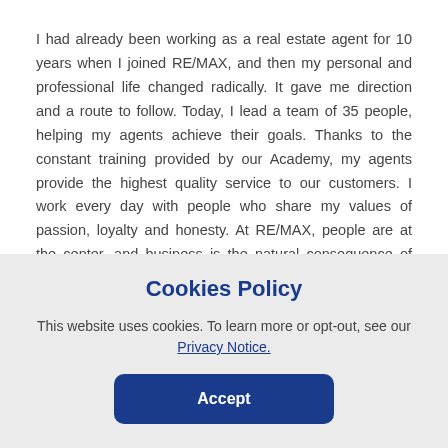I had already been working as a real estate agent for 10 years when I joined RE/MAX, and then my personal and professional life changed radically. It gave me direction and a route to follow. Today, I lead a team of 35 people, helping my agents achieve their goals. Thanks to the constant training provided by our Academy, my agents provide the highest quality service to our customers. I work every day with people who share my values of passion, loyalty and honesty. At RE/MAX, people are at the center, and business is the natural consequence of that!
Get in touch with Emanuele
Cookies Policy
This website uses cookies. To learn more or opt-out, see our Privacy Notice.
Accept